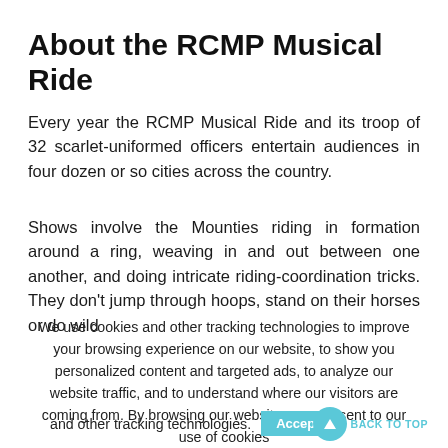About the RCMP Musical Ride
Every year the RCMP Musical Ride and its troop of 32 scarlet-uniformed officers entertain audiences in four dozen or so cities across the country.
Shows involve the Mounties riding in formation around a ring, weaving in and out between one another, and doing intricate riding-coordination tricks. They don't jump through hoops, stand on their horses or do wild
We use cookies and other tracking technologies to improve your browsing experience on our website, to show you personalized content and targeted ads, to analyze our website traffic, and to understand where our visitors are coming from. By browsing our website, you consent to our use of cookies and other tracking technologies.